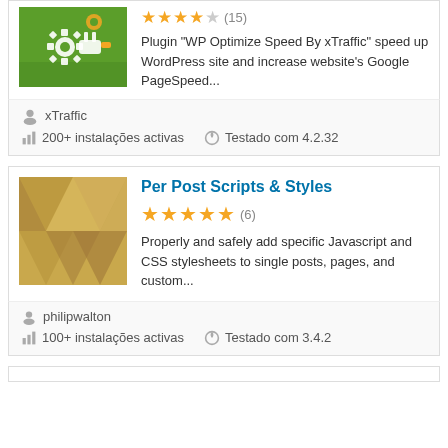[Figure (screenshot): Plugin thumbnail: green background with gear/plug icon (WP Optimize Speed By xTraffic)]
Plugin "WP Optimize Speed By xTraffic" speed up WordPress site and increase website's Google PageSpeed...
xTraffic
200+ instalações activas
Testado com 4.2.32
[Figure (screenshot): Plugin thumbnail: tan/gold geometric pattern (Per Post Scripts & Styles)]
Per Post Scripts & Styles
(6)
Properly and safely add specific Javascript and CSS stylesheets to single posts, pages, and custom...
philipwalton
100+ instalações activas
Testado com 3.4.2